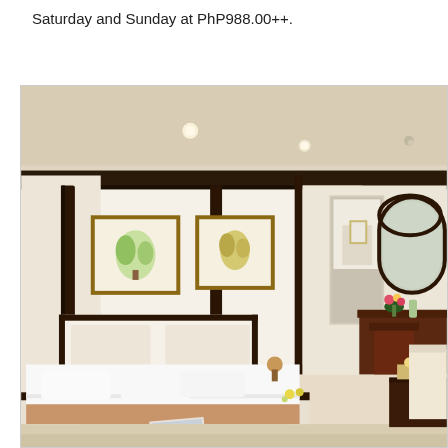Saturday and Sunday at PhP988.00++.
[Figure (photo): Hotel room interior showing a large four-poster king bed with white linens and a tan/gold accent runner, upholstered bench at foot of bed with a magazine, two framed artworks on cream wall, sitting area with dark wood table and chairs, arched mirror on right wall, recessed lighting in cream ceiling with dark wood trim beams.]